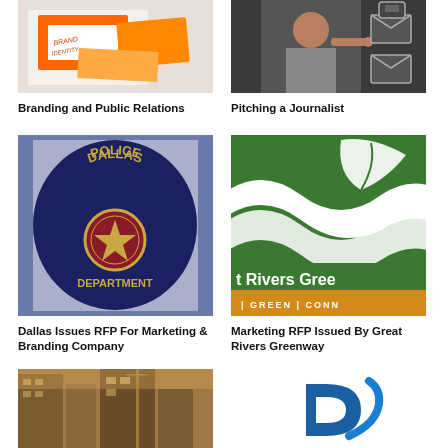[Figure (photo): Brand identity materials with orange envelopes and cards]
Branding and Public Relations
[Figure (photo): Person pointing finger with email/message icons overlay]
Pitching a Journalist
[Figure (photo): Dallas Police Department badge/patch on navy blue fabric with gold lettering and star]
Dallas Issues RFP For Marketing & Branding Company
[Figure (logo): Great Rivers Greenway logo - green background with white wave/leaf design, orange bar with GREEN | CONN text]
Marketing RFP Issued By Great Rivers Greenway
[Figure (photo): Urban building/architecture photo with warm tones]
[Figure (logo): Blue letter D logo mark]